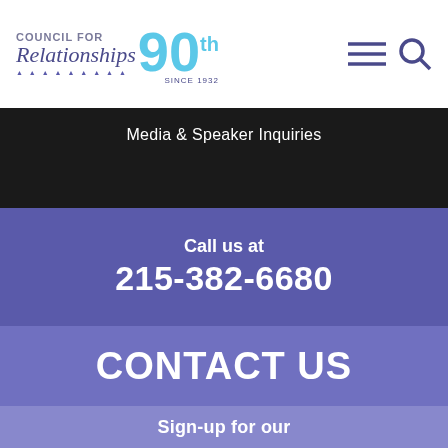[Figure (logo): Council for Relationships 90th Anniversary logo with teal 90 and cursive text]
Media & Speaker Inquiries
Call us at
215-382-6680
CONTACT US
Sign-up for our